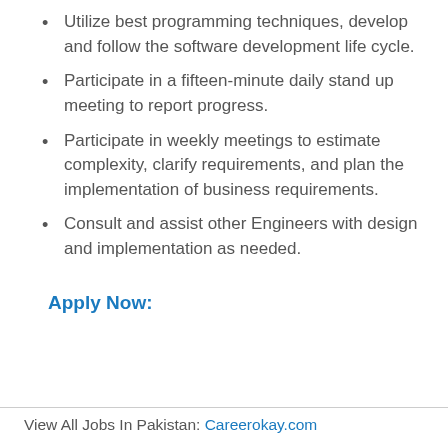Utilize best programming techniques, develop and follow the software development life cycle.
Participate in a fifteen-minute daily stand up meeting to report progress.
Participate in weekly meetings to estimate complexity, clarify requirements, and plan the implementation of business requirements.
Consult and assist other Engineers with design and implementation as needed.
Apply Now:
View All Jobs In Pakistan: Careerokay.com